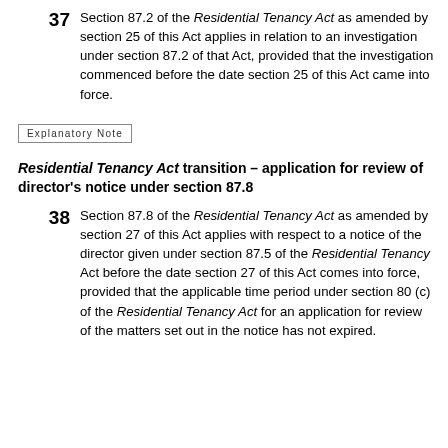37  Section 87.2 of the Residential Tenancy Act as amended by section 25 of this Act applies in relation to an investigation under section 87.2 of that Act, provided that the investigation commenced before the date section 25 of this Act came into force.
Explanatory Note
Residential Tenancy Act transition – application for review of director's notice under section 87.8
38  Section 87.8 of the Residential Tenancy Act as amended by section 27 of this Act applies with respect to a notice of the director given under section 87.5 of the Residential Tenancy Act before the date section 27 of this Act comes into force, provided that the applicable time period under section 80 (c) of the Residential Tenancy Act for an application for review of the matters set out in the notice has not expired.